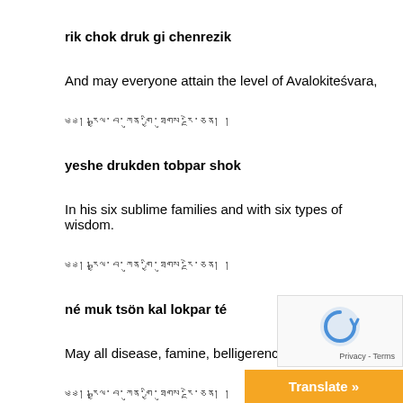rik chok druk gi chenrezik
And may everyone attain the level of Avalokiteśvara,
༄༅།།རྒྱལ་བ་ཀུན་གྱི་ཐུགས་རྗེ་ཅན། །
yeshe drukden tobpar shok
In his six sublime families and with six types of wisdom.
༄༅།།རྒྱལ་བ་ཀུན་གྱི་ཐུགས་རྗེ་ཅན། །
né muk tsön kal lokpar té
May all disease, famine, belligerence, wrong views,
༄༅།།རྒྱལ་བ་ཀུན་གྱི་ཐུགས་རྗེ་ཅན། །